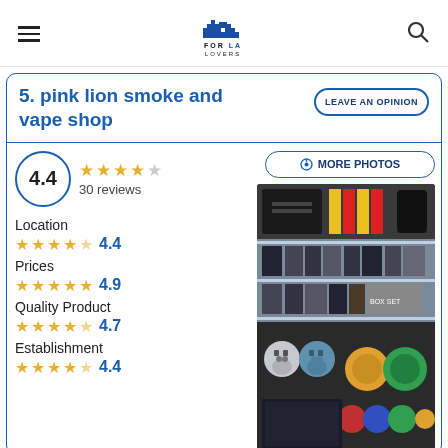FOR LA LOVERS
5. pink lion smoke and vape shop
LEAVE AN OPINION
4.4 / 30 reviews
Location 4.4
Prices 4.9
Quality Product 4.7
Establishment 4.4
[Figure (photo): Interior of pink lion smoke and vape shop showing shelves with products including vapes, accessories, and skull decorations]
MORE PHOTOS